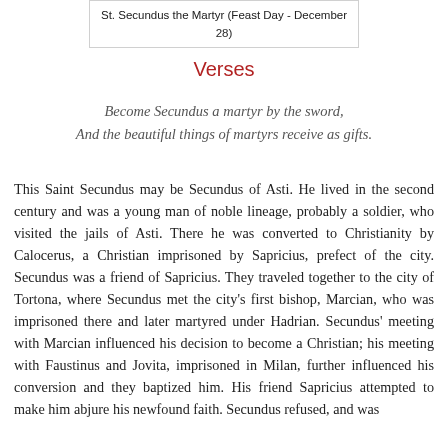St. Secundus the Martyr (Feast Day - December 28)
Verses
Become Secundus a martyr by the sword,
And the beautiful things of martyrs receive as gifts.
This Saint Secundus may be Secundus of Asti. He lived in the second century and was a young man of noble lineage, probably a soldier, who visited the jails of Asti. There he was converted to Christianity by Calocerus, a Christian imprisoned by Sapricius, prefect of the city. Secundus was a friend of Sapricius. They traveled together to the city of Tortona, where Secundus met the city's first bishop, Marcian, who was imprisoned there and later martyred under Hadrian. Secundus' meeting with Marcian influenced his decision to become a Christian; his meeting with Faustinus and Jovita, imprisoned in Milan, further influenced his conversion and they baptized him. His friend Sapricius attempted to make him abjure his newfound faith. Secundus refused, and was